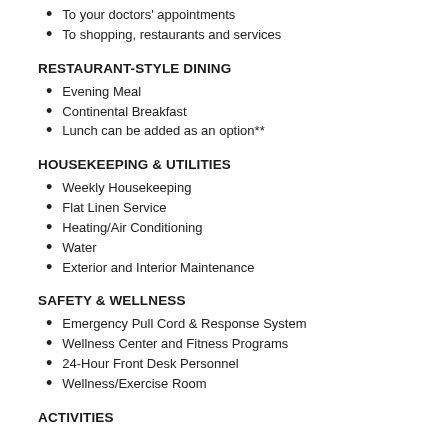To your doctors' appointments
To shopping, restaurants and services
RESTAURANT-STYLE DINING
Evening Meal
Continental Breakfast
Lunch can be added as an option**
HOUSEKEEPING & UTILITIES
Weekly Housekeeping
Flat Linen Service
Heating/Air Conditioning
Water
Exterior and Interior Maintenance
SAFETY & WELLNESS
Emergency Pull Cord & Response System
Wellness Center and Fitness Programs
24-Hour Front Desk Personnel
Wellness/Exercise Room
ACTIVITIES